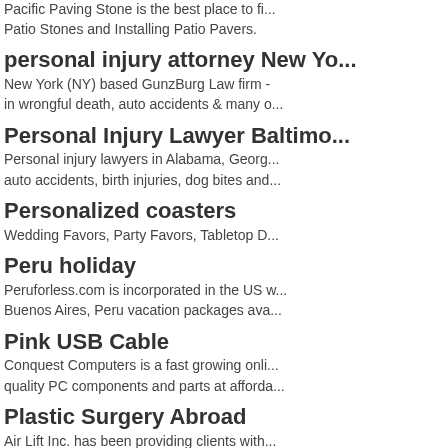Pacific Paving Stone is the best place to fi... Patio Stones and Installing Patio Pavers.
personal injury attorney New Yo...
New York (NY) based GunzBurg Law firm - in wrongful death, auto accidents & many o...
Personal Injury Lawyer Baltimo...
Personal injury lawyers in Alabama, Georg... auto accidents, birth injuries, dog bites and...
Personalized coasters
Wedding Favors, Party Favors, Tabletop D...
Peru holiday
Peruforless.com is incorporated in the US w... Buenos Aires, Peru vacation packages ava...
Pink USB Cable
Conquest Computers is a fast growing onli... quality PC components and parts at afforda...
Plastic Surgery Abroad
Air Lift Inc. has been providing clients with... surgery services since 2001.
Pool Hall Queens
Play-ny.com offers a unique space for Bow... and Lounge Queens. For more details visit...
Pools Lake Norman Nc
If you're dreaming about creating a "specia...